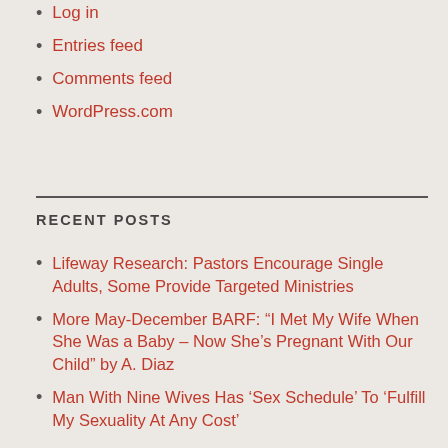Log in
Entries feed
Comments feed
WordPress.com
RECENT POSTS
Lifeway Research: Pastors Encourage Single Adults, Some Provide Targeted Ministries
More May-December BARF: “I Met My Wife When She Was a Baby – Now She’s Pregnant With Our Child” by A. Diaz
Man With Nine Wives Has ‘Sex Schedule’ To ‘Fulfill My Sexuality At Any Cost’